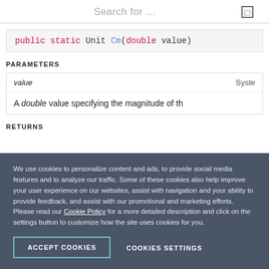Search for ...
public static Unit Cm(double value)
PARAMETERS
| value | Syste |
| --- | --- |
| A double value specifying the magnitude of th |  |
RETURNS
We use cookies to personalize content and ads, to provide social media features and to analyze our traffic. Some of these cookies also help improve your user experience on our websites, assist with navigation and your ability to provide feedback, and assist with our promotional and marketing efforts. Please read our Cookie Policy for a more detailed description and click on the settings button to customize how the site uses cookies for you.
ACCEPT COOKIES
COOKIES SETTINGS